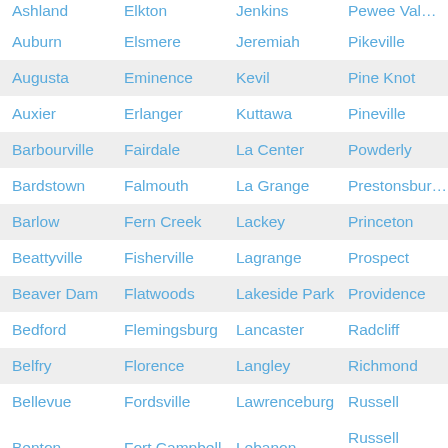| Ashland | Elkton | Jenkins | Pewee Val… |
| Auburn | Elsmere | Jeremiah | Pikeville |
| Augusta | Eminence | Kevil | Pine Knot |
| Auxier | Erlanger | Kuttawa | Pineville |
| Barbourville | Fairdale | La Center | Powderly |
| Bardstown | Falmouth | La Grange | Prestonsbur… |
| Barlow | Fern Creek | Lackey | Princeton |
| Beattyville | Fisherville | Lagrange | Prospect |
| Beaver Dam | Flatwoods | Lakeside Park | Providence |
| Bedford | Flemingsburg | Lancaster | Radcliff |
| Belfry | Florence | Langley | Richmond |
| Bellevue | Fordsville | Lawrenceburg | Russell |
| Benton | Fort Campbell | Lebanon | Russell Springs |